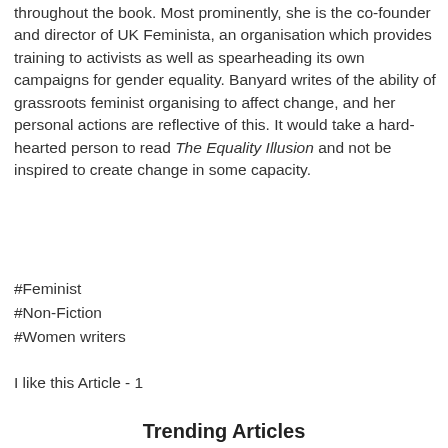throughout the book. Most prominently, she is the co-founder and director of UK Feminista, an organisation which provides training to activists as well as spearheading its own campaigns for gender equality. Banyard writes of the ability of grassroots feminist organising to affect change, and her personal actions are reflective of this. It would take a hard-hearted person to read The Equality Illusion and not be inspired to create change in some capacity.
#Feminist
#Non-Fiction
#Women writers
I like this Article - 1
Trending Articles
[Figure (photo): Black and white photo of a person in a library holding an open book in front of their face, surrounded by bookshelves and with windows visible in the background.]